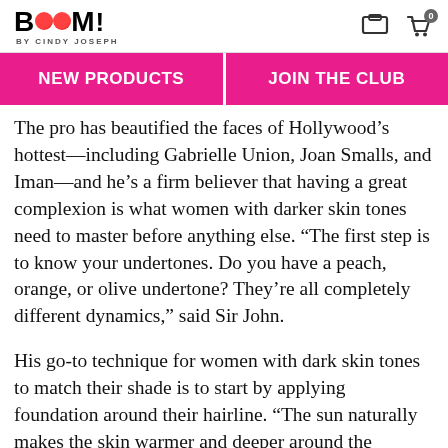BOOM! BY CINDY JOSEPH
NEW PRODUCTS
JOIN THE CLUB
The pro has beautified the faces of Hollywood’s hottest—including Gabrielle Union, Joan Smalls, and Iman—and he’s a firm believer that having a great complexion is what women with darker skin tones need to master before anything else. “The first step is to know your undertones. Do you have a peach, orange, or olive undertone? They’re all completely different dynamics,” said Sir John.
His go-to technique for women with dark skin tones to match their shade is to start by applying foundation around their hairline. “The sun naturally makes the skin warmer and deeper around the